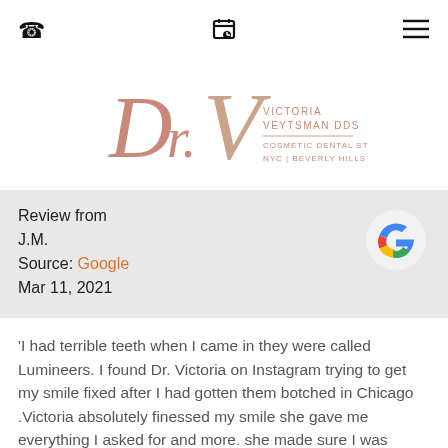Phone | Calendar | Menu
[Figure (logo): Dr. V – Victoria Veytsman DDS, Cosmetic Dental Studios, NYC | Beverly Hills logo in rose-gold script]
Review from J.M.
Source: Google
Mar 11, 2021
[Figure (logo): Google colored G logo]
'I had terrible teeth when I came in they were called Lumineers. I found Dr. Victoria on Instagram trying to get my smile fixed after I had gotten them botched in Chicago .Victoria absolutely finessed my smile she gave me everything I asked for and more. she made sure I was comfortable through the entire experience and so did her staff. my teeth came out 10 out of 10! it was worth every dollar. I would